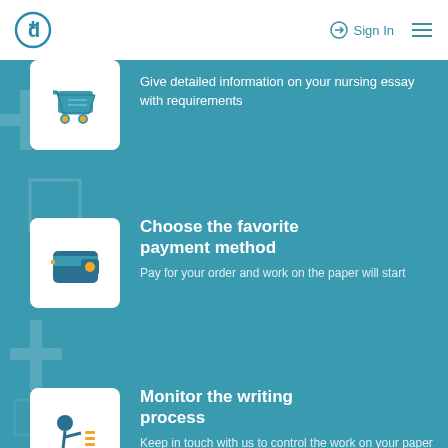[Figure (logo): Nursing essay writing service logo - circle with plus sign and letter d]
Sign In
Give detailed information on your nursing essay with requirements
Choose the favorite payment method
Pay for your order and work on the paper will start
Monitor the writing process
Keep in touch with us to control the work on your paper
Receive an essay to